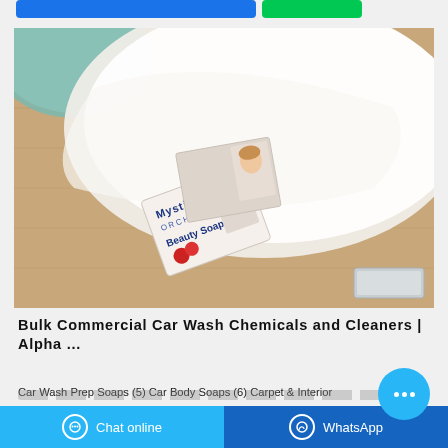[Figure (photo): Product photo showing Mystic Orchard Beauty Soap bars on a wooden surface next to a white folded towel and a teal basket]
Bulk Commercial Car Wash Chemicals and Cleaners | Alpha ...
Car Wash Prep Soaps (5) Car Body Soaps (6) Carpet & Interior Cleaners (4) Drying Agents (1) Floor Cleaners (2) Foaming Polishes (6) Fragrances & Odor Eliminators (4)
Chat online   WhatsApp